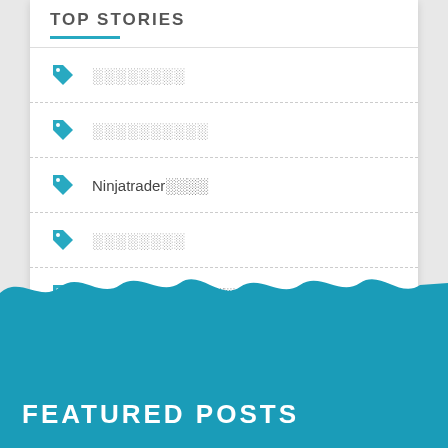TOP STORIES
░░░░░░░░
░░░░░░░░░░
Ninjatrader░░░░
░░░░░░░░
Daftar░░dapat░░░░
FEATURED POSTS